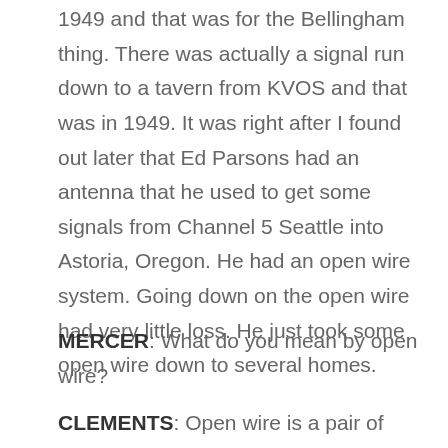1949 and that was for the Bellingham thing. There was actually a signal run down to a tavern from KVOS and that was in 1949. It was right after I found out later that Ed Parsons had an antenna that he used to get some signals from Channel 5 Seattle into Astoria, Oregon. He had an open wire system. Going down on the open wire had very little loss. He just took some open wire down to several homes.
MERCER: What do you mean by open wire?
CLEMENTS: Open wire is a pair of bare wires